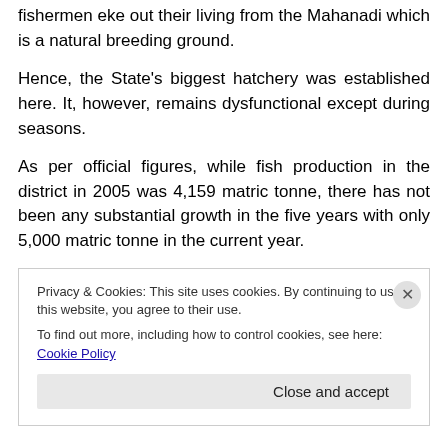fishermen eke out their living from the Mahanadi which is a natural breeding ground.
Hence, the State's biggest hatchery was established here. It, however, remains dysfunctional except during seasons.
As per official figures, while fish production in the district in 2005 was 4,159 matric tonne, there has not been any substantial growth in the five years with only 5,000 matric tonne in the current year.
The ADF said seeds of the hatchery are of good quality
Privacy & Cookies: This site uses cookies. By continuing to use this website, you agree to their use.
To find out more, including how to control cookies, see here: Cookie Policy